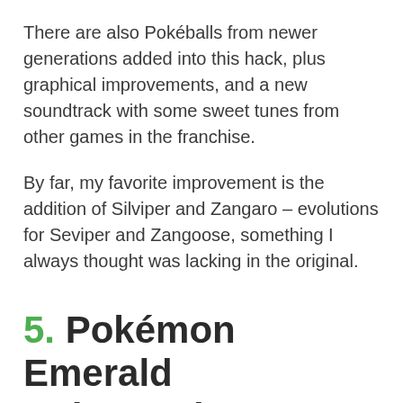There are also Pokéballs from newer generations added into this hack, plus graphical improvements, and a new soundtrack with some sweet tunes from other games in the franchise.
By far, my favorite improvement is the addition of Silviper and Zangaro – evolutions for Seviper and Zangoose, something I always thought was lacking in the original.
5. Pokémon Emerald Enhanced